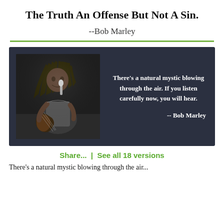The Truth An Offense But Not A Sin.
--Bob Marley
[Figure (photo): Black and white concert photo of Bob Marley playing guitar and singing into a microphone, with dreadlocks visible, alongside a dark background card with quote: 'There’s a natural mystic blowing through the air. If you listen carefully now, you will hear.' -- Bob Marley]
Share...  |  See all 18 versions
There’s a natural mystic blowing through the air...